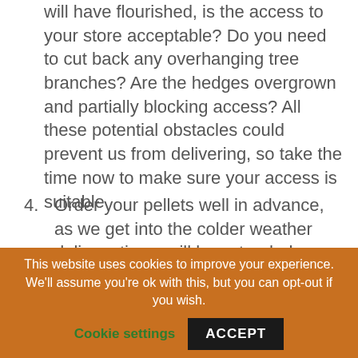will have flourished, is the access to your store acceptable? Do you need to cut back any overhanging tree branches? Are the hedges overgrown and partially blocking access? All these potential obstacles could prevent us from delivering, so take the time now to make sure your access is suitable
4. Order your pellets well in advance, as we get into the colder weather delivery times will be extended, whilst we will do everything we can to deliver within
This website uses cookies to improve your experience. We'll assume you're ok with this, but you can opt-out if you wish.
Cookie settings  ACCEPT